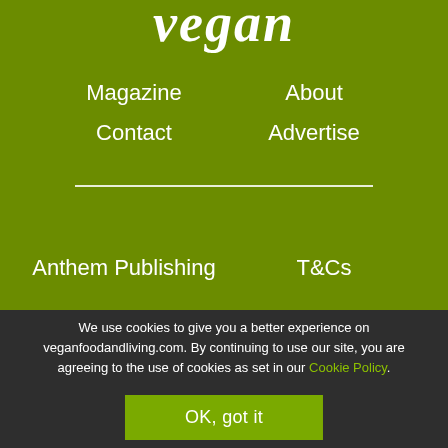vegan
Magazine
About
Contact
Advertise
Anthem Publishing
T&Cs
We use cookies to give you a better experience on veganfoodandliving.com. By continuing to use our site, you are agreeing to the use of cookies as set in our Cookie Policy.
OK, got it